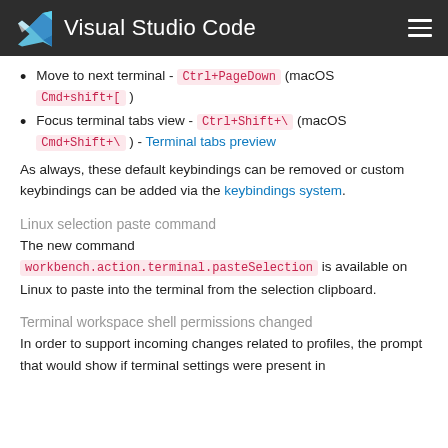Visual Studio Code
Move to next terminal - Ctrl+PageDown (macOS Cmd+shift+[ )
Focus terminal tabs view - Ctrl+Shift+\ (macOS Cmd+Shift+\ ) - Terminal tabs preview
As always, these default keybindings can be removed or custom keybindings can be added via the keybindings system.
Linux selection paste command
The new command workbench.action.terminal.pasteSelection is available on Linux to paste into the terminal from the selection clipboard.
Terminal workspace shell permissions changed
In order to support incoming changes related to profiles, the prompt that would show if terminal settings were present in